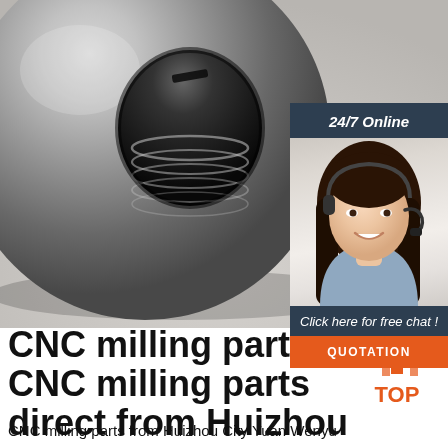[Figure (photo): Close-up photo of a metallic CNC milled ball part with threaded hole/bore visible from top angle, showing precision machined internal threads]
[Figure (illustration): 24/7 Online chat widget with dark blue background, photo of female customer service representative with headset, 'Click here for free chat!' text, and orange QUOTATION button]
CNC milling parts, CNC milling parts direct from Huizhou ...
[Figure (logo): TOP logo with orange triangle/chevron arrows above orange text 'TOP']
CNC milling parts from Huizhou City Yuan Wenyu